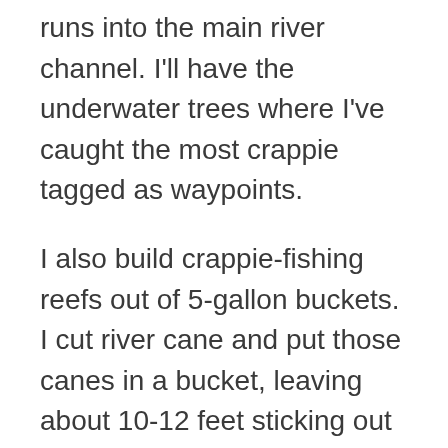runs into the main river channel. I'll have the underwater trees where I've caught the most crappie tagged as waypoints.
I also build crappie-fishing reefs out of 5-gallon buckets. I cut river cane and put those canes in a bucket, leaving about 10-12 feet sticking out of and above the bucket. Then I mix up and pour concrete into each of the 5-gallon buckets. At the locations where I'll put these artificial reefs, I'll generally place three buckets in the same spot and about 25 in a general area, spread out about 3-5 feet apart. By building these